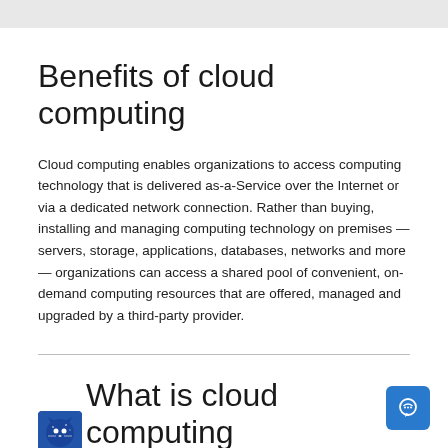Benefits of cloud computing
Cloud computing enables organizations to access computing technology that is delivered as-a-Service over the Internet or via a dedicated network connection. Rather than buying, installing and managing computing technology on premises — servers, storage, applications, databases, networks and more — organizations can access a shared pool of convenient, on-demand computing resources that are offered, managed and upgraded by a third-party provider.
What is cloud computing